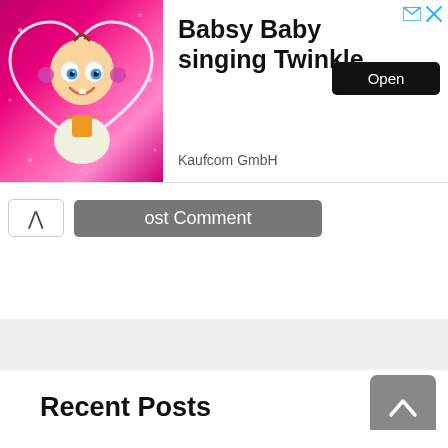[Figure (screenshot): Advertisement banner for 'Babsy Baby singing Twinkle' app by Kaufcom GmbH, showing animated baby character on pink sparkly background with an Open button]
ost Comment
Recent Posts